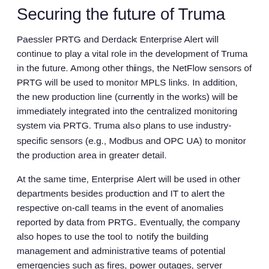Securing the future of Truma
Paessler PRTG and Derdack Enterprise Alert will continue to play a vital role in the development of Truma in the future. Among other things, the NetFlow sensors of PRTG will be used to monitor MPLS links. In addition, the new production line (currently in the works) will be immediately integrated into the centralized monitoring system via PRTG. Truma also plans to use industry-specific sensors (e.g., Modbus and OPC UA) to monitor the production area in greater detail.
At the same time, Enterprise Alert will be used in other departments besides production and IT to alert the respective on-call teams in the event of anomalies reported by data from PRTG. Eventually, the company also hopes to use the tool to notify the building management and administrative teams of potential emergencies such as fires, power outages, server failures, etc.
“With PRTG, the possibilities are endless. It lets us expand our monitoring without additional modules or add-ons, and creates a centralized dashboard that displays all